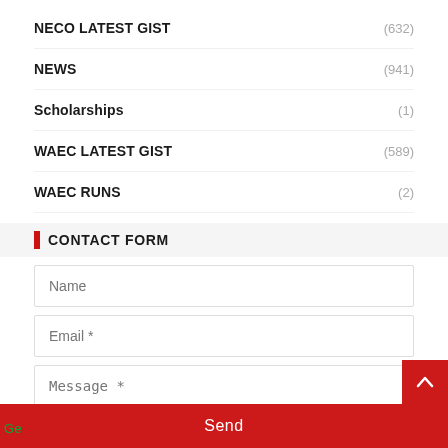NECO LATEST GIST (632)
NEWS (941)
Scholarships (1)
WAEC LATEST GIST (589)
WAEC RUNS (2)
CONTACT FORM
Name
Email *
Message *
Send